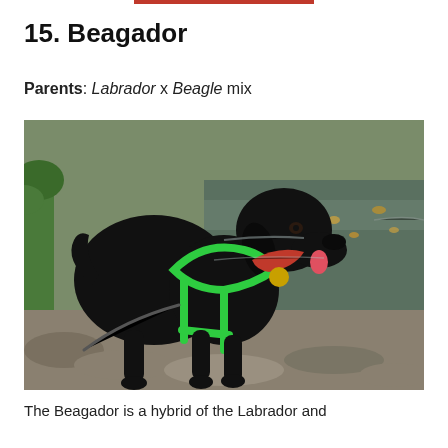15. Beagador
Parents: Labrador x Beagle mix
[Figure (photo): A black Labrador-mix dog wearing a green harness and red collar with a gold tag, standing near a rocky pond area with trees and water in the background.]
The Beagador is a hybrid of the Labrador and